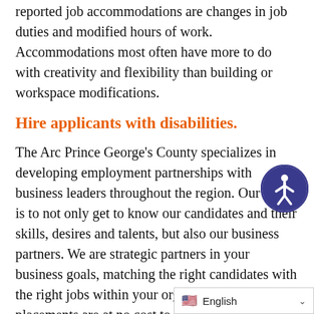reported job accommodations are changes in job duties and modified hours of work. Accommodations most often have more to do with creativity and flexibility than building or workspace modifications.
Hire applicants with disabilities.
The Arc Prince George's County specializes in developing employment partnerships with business leaders throughout the region. Our goal is to not only get to know our candidates and their skills, desires and talents, but also our business partners. We are strategic partners in your business goals, matching the right candidates with the right jobs within your organization. Our 1:1 placements are at no cost to our employment partners, and our ongoing support is des…